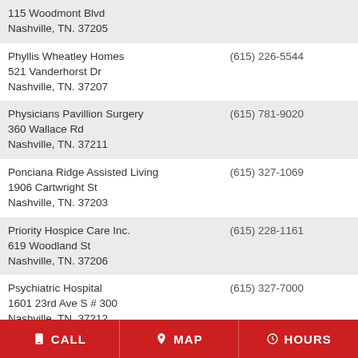| Name / Address | Phone |
| --- | --- |
| 115 Woodmont Blvd
Nashville, TN. 37205 |  |
| Phyllis Wheatley Homes
521 Vanderhorst Dr
Nashville, TN. 37207 | (615) 226-5544 |
| Physicians Pavillion Surgery
360 Wallace Rd
Nashville, TN. 37211 | (615) 781-9020 |
| Ponciana Ridge Assisted Living
1906 Cartwright St
Nashville, TN. 37203 | (615) 327-1069 |
| Priority Hospice Care Inc.
619 Woodland St
Nashville, TN. 37206 | (615) 228-1161 |
| Psychiatric Hospital
1601 23rd Ave S # 300
Nashville, TN. 37212 | (615) 327-7000 |
| Radnor Towers Inc
3110 Nolensville Rd
Nashville, TN. 37211 | (615) 832-7802 |
CALL   MAP   HOURS